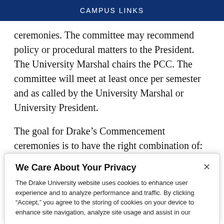CAMPUS LINKS
ceremonies. The committee may recommend policy or procedural matters to the President. The University Marshal chairs the PCC. The committee will meet at least once per semester and as called by the University Marshal or University President.
The goal for Drake’s Commencement ceremonies is to have the right combination of: Substance, Pomp & Circumstance, Joy, Brevity, Celebratory, Respect and Sincerity. Traditionally, graduates have been viewed as a community
We Care About Your Privacy
The Drake University website uses cookies to enhance user experience and to analyze performance and traffic. By clicking “Accept,” you agree to the storing of cookies on your device to enhance site navigation, analyze site usage and assist in our